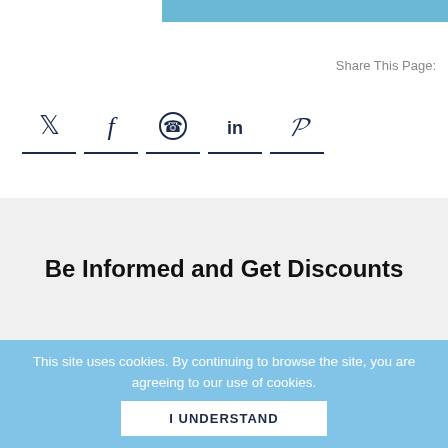[Figure (other): Light blue decorative top bar strip]
Share This Page:
[Figure (other): Social media sharing icons: Twitter, Facebook, WhatsApp, LinkedIn, Pinterest — each with a dark underline bar]
Be Informed and Get Discounts
This site uses cookies. By continuing to browse the site, you are agreeing to our use of cookies. I UNDERSTAND